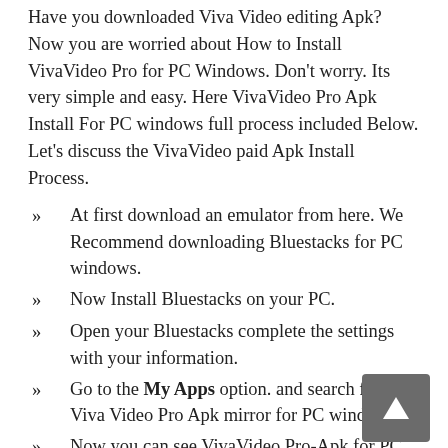Have you downloaded Viva Video editing Apk? Now you are worried about How to Install VivaVideo Pro for PC Windows. Don't worry. Its very simple and easy. Here VivaVideo Pro Apk Install For PC windows full process included Below. Let's discuss the VivaVideo paid Apk Install Process.
At first download an emulator from here. We Recommend downloading Bluestacks for PC windows.
Now Install Bluestacks on your PC.
Open your Bluestacks complete the settings with your information.
Go to the My Apps option. and search for: Viva Video Pro Apk mirror for PC windows.
Now you can see VivaVideo Pro-Apk for PC
Tap on the VivaVideo Pro Apk redl file  to download viva video pro Apk.
Now, press the Install button.